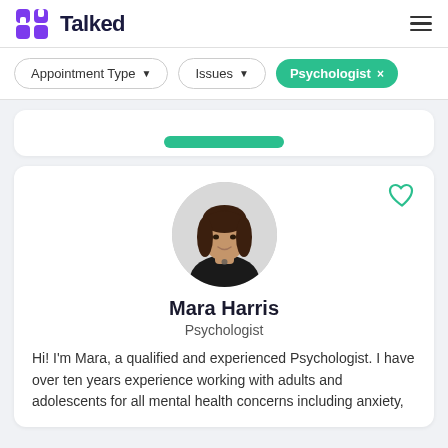Talked
Appointment Type ▼
Issues ▼
Psychologist ×
[Figure (photo): Circular profile photo of Mara Harris, a woman with dark hair wearing a black top, against a light background.]
Mara Harris
Psychologist
Hi! I'm Mara, a qualified and experienced Psychologist. I have over ten years experience working with adults and adolescents for all mental health concerns including anxiety,